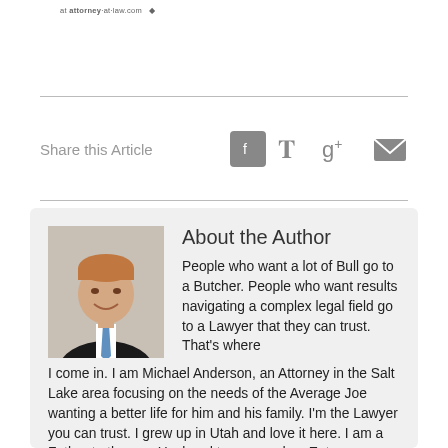at attorney-at-law.com
Share this Article
[Figure (other): Social sharing icons: Facebook, Twitter, Google+, Email]
About the Author
[Figure (photo): Professional headshot of Michael Anderson, an attorney, wearing a dark suit and blue tie, smiling.]
People who want a lot of Bull go to a Butcher. People who want results navigating a complex legal field go to a Lawyer that they can trust. That's where I come in. I am Michael Anderson, an Attorney in the Salt Lake area focusing on the needs of the Average Joe wanting a better life for him and his family. I'm the Lawyer you can trust. I grew up in Utah and love it here. I am a Father to three, a Husband to one, and an Entrepreneur. I understand the feelings of joy each of those roles bring, and I understand the feeling of disappointment, fear, and regret when things go wrong. I attended the University of Utah where I received a B.A. degree in 2010 and a J.D. in